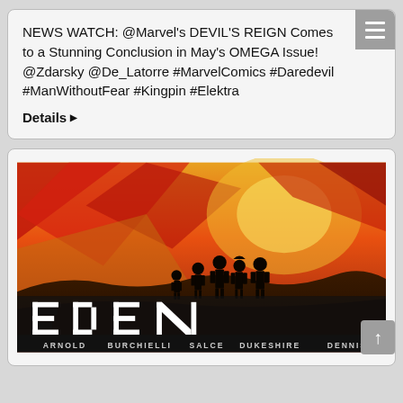NEWS WATCH: @Marvel's DEVIL'S REIGN Comes to a Stunning Conclusion in May's OMEGA Issue! @Zdarsky @De_Latorre #MarvelComics #Daredevil #ManWithoutFear #Kingpin #Elektra
Details ▶
[Figure (illustration): Comic book cover for EDEN showing silhouettes of five characters standing on a ridge against a dramatic orange, red and yellow background. Large stylized text 'EDEN' at the bottom with creator credits: ARNOLD BURCHIELLI SALCE DUKESHIRE DENNIS]